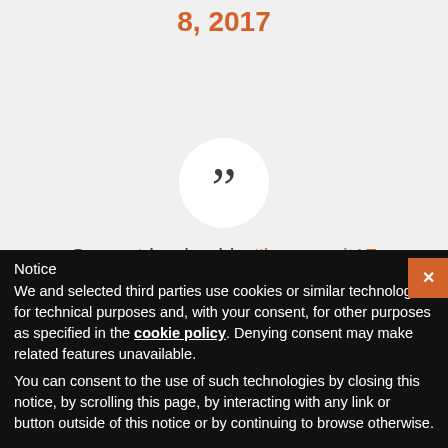8, 2017
” Servant leadership #hcsummit17 pic.twitter.com/vfYC0v8YWR
Notice
We and selected third parties use cookies or similar technologies for technical purposes and, with your consent, for other purposes as specified in the cookie policy. Denying consent may make related features unavailable.
You can consent to the use of such technologies by closing this notice, by scrolling this page, by interacting with any link or button outside of this notice or by continuing to browse otherwise.